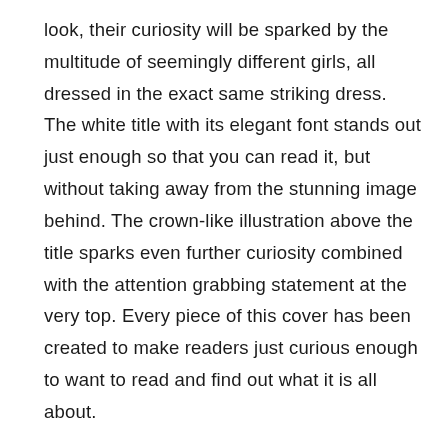look, their curiosity will be sparked by the multitude of seemingly different girls, all dressed in the exact same striking dress. The white title with its elegant font stands out just enough so that you can read it, but without taking away from the stunning image behind. The crown-like illustration above the title sparks even further curiosity combined with the attention grabbing statement at the very top. Every piece of this cover has been created to make readers just curious enough to want to read and find out what it is all about.